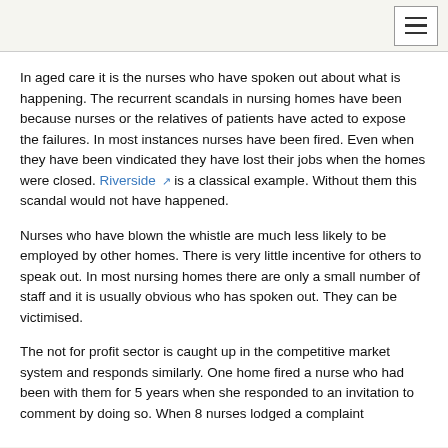In aged care it is the nurses who have spoken out about what is happening. The recurrent scandals in nursing homes have been because nurses or the relatives of patients have acted to expose the failures. In most instances nurses have been fired. Even when they have been vindicated they have lost their jobs when the homes were closed. Riverside is a classical example. Without them this scandal would not have happened.
Nurses who have blown the whistle are much less likely to be employed by other homes. There is very little incentive for others to speak out. In most nursing homes there are only a small number of staff and it is usually obvious who has spoken out. They can be victimised.
The not for profit sector is caught up in the competitive market system and responds similarly. One home fired a nurse who had been with them for 5 years when she responded to an invitation to comment by doing so. When 8 nurses lodged a complaint